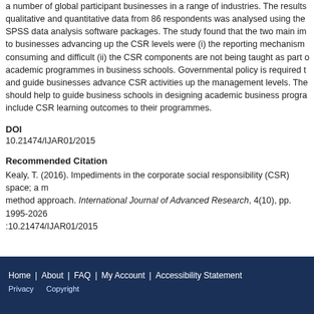a number of global participant businesses in a range of industries. The results qualitative and quantitative data from 86 respondents was analysed using the SPSS data analysis software packages. The study found that the two main im to businesses advancing up the CSR levels were (i) the reporting mechanism consuming and difficult (ii) the CSR components are not being taught as part o academic programmes in business schools. Governmental policy is required t and guide businesses advance CSR activities up the management levels. The should help to guide business schools in designing academic business progra include CSR learning outcomes to their programmes.
DOI
10.21474/IJAR01/2015
Recommended Citation
Kealy, T. (2016). Impediments in the corporate social responsibility (CSR) space; a m method approach. International Journal of Advanced Research, 4(10), pp. 1995-2026 :10.21474/IJAR01/2015
Home | About | FAQ | My Account | Accessibility Statement | Privacy Copyright